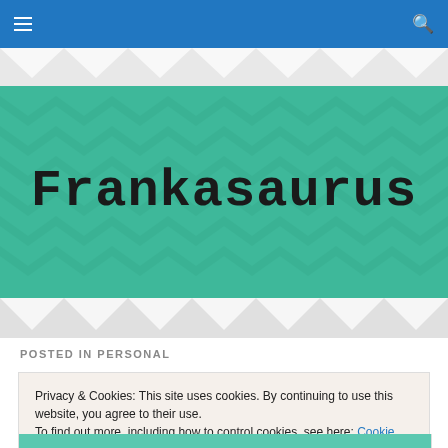Frankasaurus navigation bar with hamburger menu and search icon
Frankasaurus
POSTED IN PERSONAL
Privacy & Cookies: This site uses cookies. By continuing to use this website, you agree to their use.
To find out more, including how to control cookies, see here: Cookie Policy
Close and accept